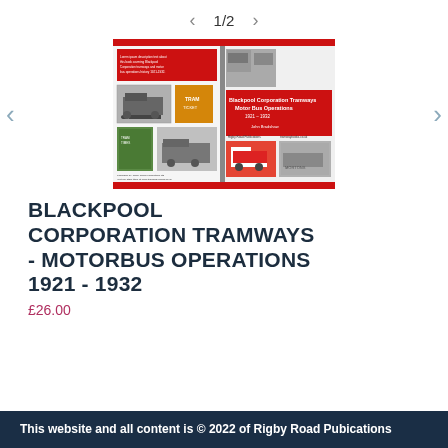< 1/2 >
[Figure (photo): Book cover for 'Blackpool Corporation Tramways Motor Bus Operations 1921-1932', showing front and back cover with red and black design, vintage bus photographs, and ticket images.]
BLACKPOOL CORPORATION TRAMWAYS - MOTORBUS OPERATIONS 1921 - 1932
£26.00
This website and all content is © 2022 of Rigby Road Pubications